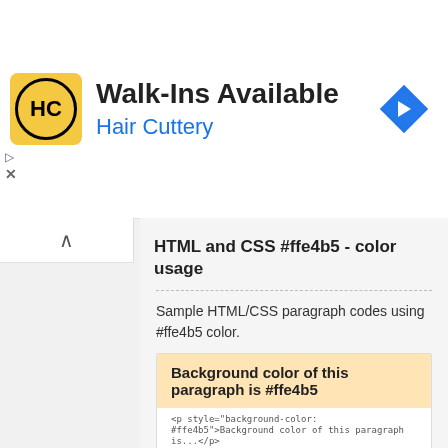[Figure (screenshot): Hair Cuttery advertisement banner with yellow logo, Walk-Ins Available title, Hair Cuttery subtitle in blue, and a blue navigation icon on the right]
HTML and CSS #ffe4b5 - color usage
Sample HTML/CSS paragraph codes using #ffe4b5 color.
[Figure (screenshot): Example box showing background color #ffe4b5 applied to a paragraph, with code snippet: <p style="background-color: #ffe4b5">Background color of this paragraph is...</p>]
[Figure (screenshot): Example box showing text color #ffe4b5 on black background, with code snippet: <p style="color: #ffe4b5">Text color of this paragraph is...</p>]
[Figure (screenshot): Example box showing border color #ffe4b5 with text: Border color of this paragraph is #ffe4b5]